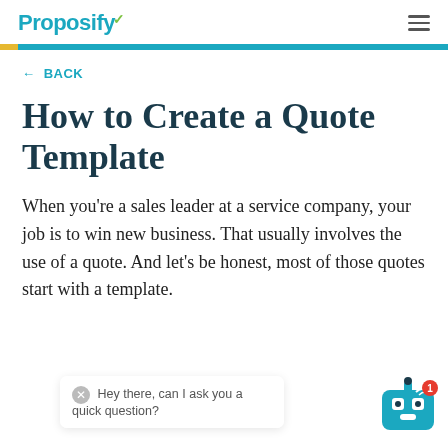Proposify
← BACK
How to Create a Quote Template
When you're a sales leader at a service company, your job is to win new business. That usually involves the use of a quote. And let's be honest, most of those quotes start with a template.